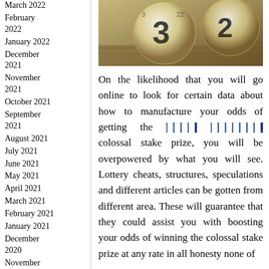March 2022
February 2022
January 2022
December 2021
November 2021
October 2021
September 2021
August 2021
July 2021
June 2021
May 2021
April 2021
March 2021
February 2021
January 2021
December 2020
November 2020
[Figure (photo): Close-up photo of numbered lottery/bingo balls on a wooden surface, showing numbers including 3 and 2]
On the likelihood that you will go online to look for certain data about how to manufacture your odds of getting the [REDACTED LINK] colossal stake prize, you will be overpowered by what you will see. Lottery cheats, structures, speculations and different articles can be gotten from different area. These will guarantee that they could assist you with boosting your odds of winning the colossal stake prize at any rate in all honesty none of